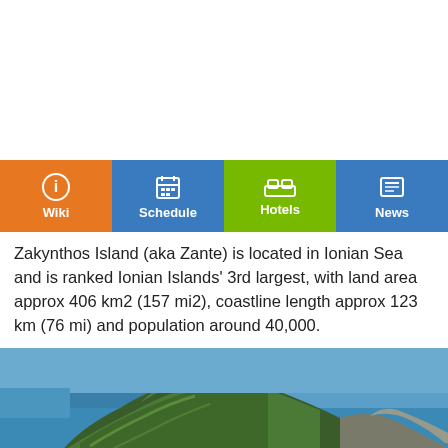[Figure (other): White space / blank area at top of page (app header area)]
[Figure (infographic): Navigation bar with four tabs: Wiki (orange, active), Schedule (blue), Hotels (green, active highlight), News (blue)]
Zakynthos Island (aka Zante) is located in Ionian Sea and is ranked Ionian Islands' 3rd largest, with land area approx 406 km2 (157 mi2), coastline length approx 123 km (76 mi) and population around 40,000.
[Figure (photo): Aerial photo of a rocky, forested island headland surrounded by blue sea with turquoise shallow water near the cliffs — Zakynthos Island (Zante), Greece]